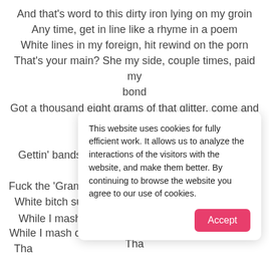And that's word to this dirty iron lying on my groin
Any time, get in line like a rhyme in a poem
White lines in my foreign, hit rewind on the porn
That's your main? She my side, couple times, paid my bond
Got a thousand eight grams of that glitter, come and get it
Gettin' bands with the yams, fuck the fans on the Twitter
Fuck the 'Gram, stop playin', white grams, I get rid of
White bitch sucking dick, I'll leave her class on her sweater
While I mash on the pedal, talking shit to her, tell her
Tha...
This website uses cookies for fully efficient work. It allows us to analyze the interactions of the visitors with the website, and make them better. By continuing to browse the website you agree to our use of cookies.
Accept